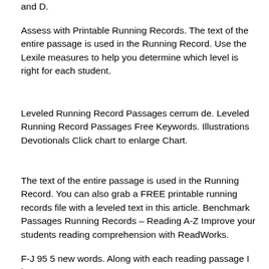and D.
Assess with Printable Running Records. The text of the entire passage is used in the Running Record. Use the Lexile measures to help you determine which level is right for each student.
Leveled Running Record Passages cerrum de. Leveled Running Record Passages Free Keywords. Illustrations Devotionals Click chart to enlarge Chart.
The text of the entire passage is used in the Running Record. You can also grab a FREE printable running records file with a leveled text in this article. Benchmark Passages Running Records – Reading A-Z Improve your students reading comprehension with ReadWorks.
F-J 95 5 new words. Along with each reading passage I have